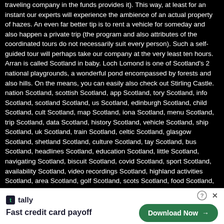traveling company in the funds provides it). This way, at least for an instant our experts will experience the ambience of an actual property of hazes. An even far better tip is to rent a vehicle for someday and also happen a private trip (the program and also attributes of the coordinated tours do not necessarily suit every person). Such a self-guided tour will perhaps take our company at the very least ten hours. Arran is called Scotland in baby. Loch Lomond is one of Scotland's 2 national playgrounds, a wonderful pond encompassed by forests and also hills. On the means, you can easily also check out Stirling Castle. nation Scotland, scottish Scotland, app Scotland, tory Scotland, info Scotland, scotland Scotland, us Scotland, edinburgh Scotland, child Scotland, cult Scotland, map Scotland, iona Scotland, menu Scotland, trip Scotland, data Scotland, history Scotland, vehicle Scotland, ship Scotland, uk Scotland, train Scotland, celtic Scotland, glasgow Scotland, shetland Scotland, culture Scotland, tay Scotland, bus Scotland, headlines Scotland, education Scotland, little Scotland, navigating Scotland, biscuit Scotland, covid Scotland, sport Scotland, availability Scotland, video recordings Scotland, highland activities Scotland, area Scotland, golf Scotland, scots Scotland, food Scotland, whisky Scotland, budget Scotland, visitscotland Scotland, gallery Scotland, email list Scotland, arbroath Scotland, heck Scotland, street Scotland, distilleries Scotland, street andrews Scotland, drink Scotland, browse through scotland Scotland, europe Scotland, castles Scotland, potential Scotland, experience Scotland, weblog Scotland, dundee Scotland, steering Scotland, sports Scotland, covid-Scotland9 Scotland, transport Scotland. Reduced Budget Travel? Scotland, like the entire of Great Britain, is none of the most inexpensive locations. You can discover a whole great deal of treking tracks as well as campsites listed here. Additionally, the outdoor tents may be established practically anywhere, therefore visitors can also sleep in the open air. Scotland likewise offers obal access to clean w eams nearly anywher e most
[Figure (other): Advertisement banner for Tally app - 'Fast credit card payoff' with Download Now button and close X button]